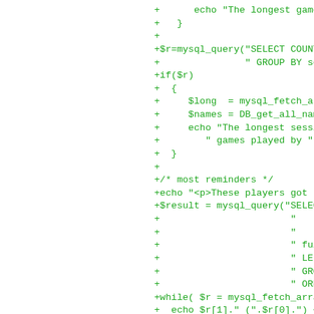[Figure (screenshot): Code diff snippet showing PHP code additions (lines prefixed with +) in green monospace font on white background. Code includes mysql_query calls, echo statements, while loops, and PHP logic for game session and reminder queries.]